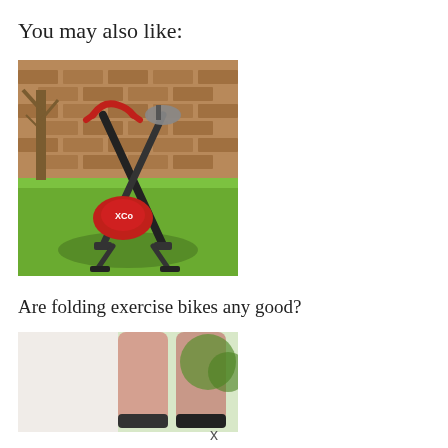You may also like:
[Figure (photo): A folding exercise bike with red and black frame, X-shaped design, photographed outdoors on green grass in front of a brick wall with a bare tree in the background.]
Are folding exercise bikes any good?
[Figure (photo): A cropped photo showing a person's legs from the knees down, likely cycling or exercising, with outdoor background visible.]